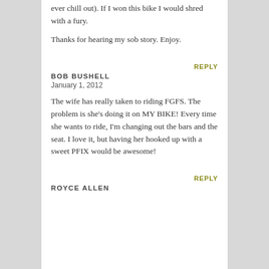ever chill out). If I won this bike I would shred with a fury.
Thanks for hearing my sob story. Enjoy.
REPLY
BOB BUSHELL
January 1, 2012
The wife has really taken to riding FGFS. The problem is she's doing it on MY BIKE! Every time she wants to ride, I'm changing out the bars and the seat. I love it, but having her hooked up with a sweet PFIX would be awesome!
REPLY
ROYCE ALLEN